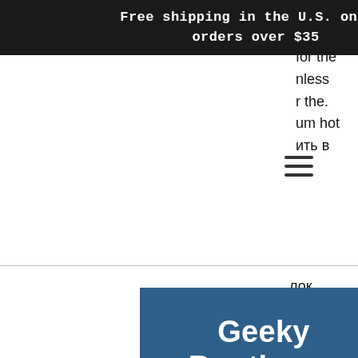Free shipping in the U.S. on all orders over $35
[Figure (other): Hamburger/navigation menu icon (three horizontal lines)]
[Figure (logo): Geeky Boutiques logo - white bold text on dark blue background]
Search...
Log In
Cart (0)
500w power supply kit. Shop the hp%20enterprise store on tech-america. Hstns-pd22b hp 750-watts common slot platinum power supply. Buy hp flex-10 10g 2p 552m adp hstns-bn78 674762-001 675484-001 674764-b21. 800w flex slot power supply with 96% efficiency, 80plus titanium certified1. Delivers 48v dc input